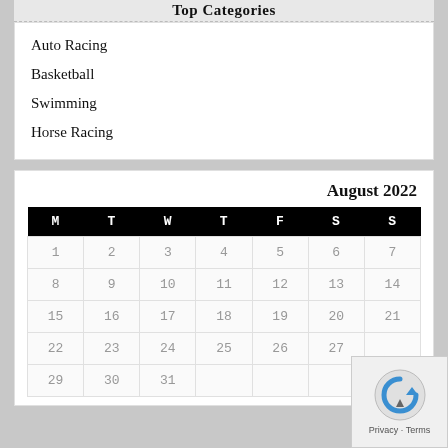Top Categories
Auto Racing
Basketball
Swimming
Horse Racing
| M | T | W | T | F | S | S |
| --- | --- | --- | --- | --- | --- | --- |
| 1 | 2 | 3 | 4 | 5 | 6 | 7 |
| 8 | 9 | 10 | 11 | 12 | 13 | 14 |
| 15 | 16 | 17 | 18 | 19 | 20 | 21 |
| 22 | 23 | 24 | 25 | 26 | 27 |  |
| 29 | 30 | 31 |  |  |  |  |